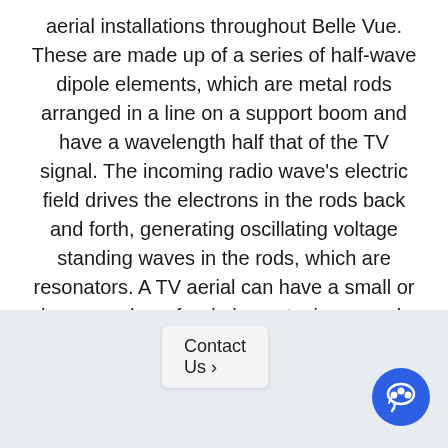aerial installations throughout Belle Vue. These are made up of a series of half-wave dipole elements, which are metal rods arranged in a line on a support boom and have a wavelength half that of the TV signal. The incoming radio wave's electric field drives the electrons in the rods back and forth, generating oscillating voltage standing waves in the rods, which are resonators. A TV aerial can have a small or large number of rod elements; in general, the more elements, the higher the gain and the more directional the aerial. Making it perfect for the Belle Vue region.
Contact Us